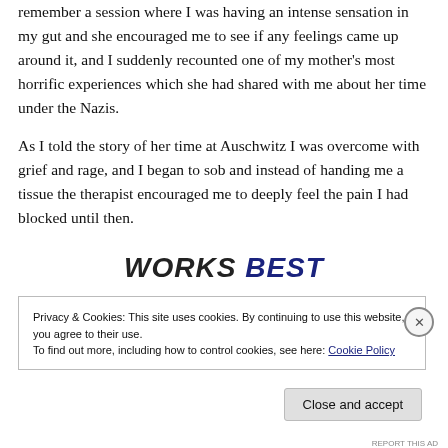remember a session where I was having an intense sensation in my gut and she encouraged me to see if any feelings came up around it, and I suddenly recounted one of my mother’s most horrific experiences which she had shared with me about her time under the Nazis.
As I told the story of her time at Auschwitz I was overcome with grief and rage, and I began to sob and instead of handing me a tissue the therapist encouraged me to deeply feel the pain I had blocked until then.
WORKS BEST
Privacy & Cookies: This site uses cookies. By continuing to use this website, you agree to their use.
To find out more, including how to control cookies, see here: Cookie Policy
Close and accept